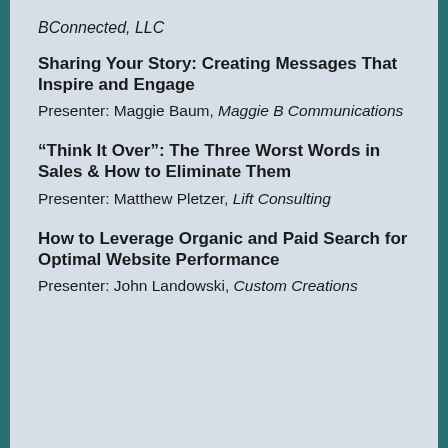BConnected, LLC
Sharing Your Story: Creating Messages That Inspire and Engage
Presenter: Maggie Baum, Maggie B Communications
“Think It Over”: The Three Worst Words in Sales & How to Eliminate Them
Presenter: Matthew Pletzer, Lift Consulting
How to Leverage Organic and Paid Search for Optimal Website Performance
Presenter: John Landowski, Custom Creations